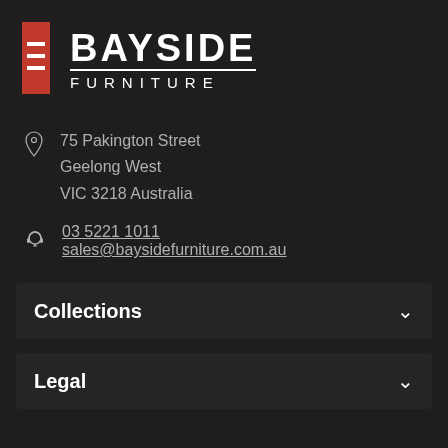[Figure (logo): Bayside Furniture logo with red rectangular icon on the left and BAYSIDE FURNITURE text on the right]
75 Pakington Street
Geelong West
VIC 3218 Australia
03 5221 1011
sales@baysidefurniture.com.au
Collections
Legal